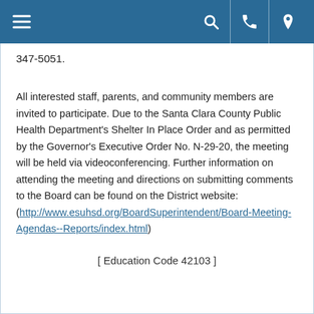[ navigation bar with hamburger menu, search, phone, and location icons ]
347-5051.
All interested staff, parents, and community members are invited to participate. Due to the Santa Clara County Public Health Department's Shelter In Place Order and as permitted by the Governor's Executive Order No. N-29-20, the meeting will be held via videoconferencing. Further information on attending the meeting and directions on submitting comments to the Board can be found on the District website: (http://www.esuhsd.org/BoardSuperintendent/Board-Meeting-Agendas--Reports/index.html)
[ Education Code 42103 ]